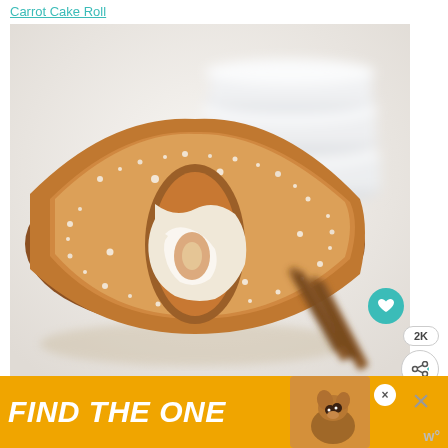Carrot Cake Roll
[Figure (photo): Close-up photo of a powdered-sugar-dusted carrot cake roll with cream cheese filling, sliced to show swirl, on a white surface with cinnamon sticks and stacked white plates in background]
2K
[Figure (infographic): Advertisement banner with golden/yellow background reading FIND THE ONE with a dog photo and close buttons]